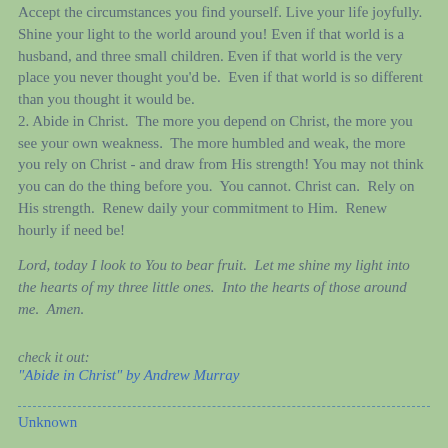Accept the circumstances you find yourself. Live your life joyfully.  Shine your light to the world around you! Even if that world is a husband, and three small children. Even if that world is the very place you never thought you'd be.  Even if that world is so different than you thought it would be.
2. Abide in Christ.  The more you depend on Christ, the more you see your own weakness.  The more humbled and weak, the more you rely on Christ - and draw from His strength! You may not think you can do the thing before you.  You cannot. Christ can.  Rely on His strength.  Renew daily your commitment to Him.  Renew hourly if need be!
Lord, today I look to You to bear fruit.  Let me shine my light into the hearts of my three little ones.  Into the hearts of those around me.  Amen.
check it out:
"Abide in Christ" by Andrew Murray
Unknown